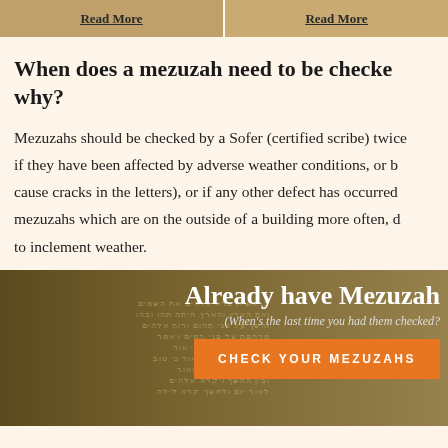Read More | Read More
When does a mezuzah need to be checked and why?
Mezuzahs should be checked by a Sofer (certified scribe) twice if they have been affected by adverse weather conditions, or by cause cracks in the letters), or if any other defect has occurred mezuzahs which are on the outside of a building more often, due to inclement weather.
[Figure (photo): Background photo of Hebrew script manuscript with overlaid text 'Already have Mezuzahs' and subtitle '(When's the last time you had them checked?)' and an orange button 'CHECK YOUR MEZUZAHS']
Already have Mezuzahs
(When's the last time you had them checked?)
CHECK YOUR MEZUZAHS